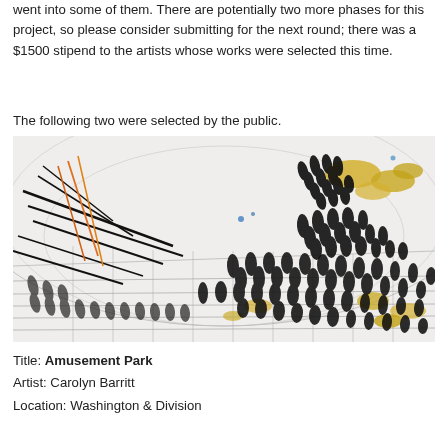went into some of them. There are potentially two more phases for this project, so please consider submitting for the next round; there was a $1500 stipend to the artists whose works were selected this time.
The following two were selected by the public.
[Figure (illustration): Abstract artwork showing an amusement park scene with dense black mark-making patterns, yellow and blue color accents, geometric grid lines and diagonal strokes over a landscape composition.]
Title: Amusement Park
Artist: Carolyn Barritt
Location: Washington & Division